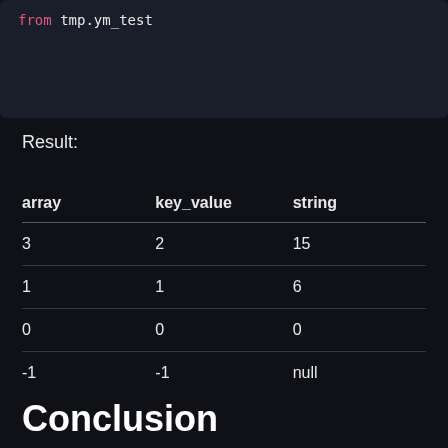[Figure (screenshot): Code block showing SQL fragment: 'from tmp.ym_test']
Result:
| array | key_value | string |
| --- | --- | --- |
| 3 | 2 | 15 |
| 1 | 1 | 6 |
| 0 | 0 | 0 |
| -1 | -1 | null |
Conclusion